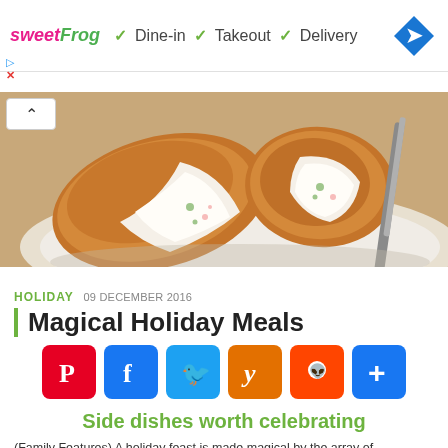[Figure (other): Advertisement banner for sweetFrog showing Dine-in, Takeout, Delivery options with checkmarks and a blue diamond navigation icon]
[Figure (photo): Close-up photo of fried breaded croquettes broken open on a white plate revealing creamy filling with herbs and pink bits, with silverware visible on the right]
HOLIDAY  09 DECEMBER 2016
Magical Holiday Meals
[Figure (other): Social sharing icons row: Pinterest (red P), Facebook (blue f), Twitter (blue bird), Yummly (orange y), Reddit (orange alien), More/share (blue +)]
Side dishes worth celebrating
(Family Features) A holiday feast is made magical by the array of